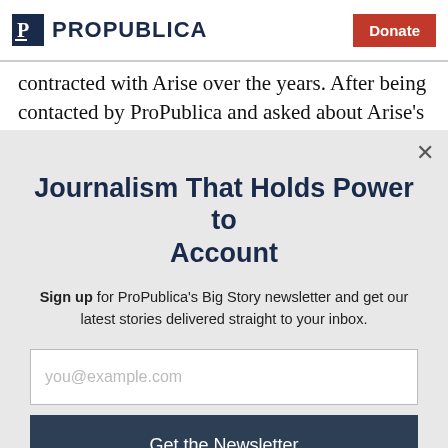ProPublica | Donate
contracted with Arise over the years. After being contacted by ProPublica and asked about Arise's labor
Journalism That Holds Power to Account
Sign up for ProPublica's Big Story newsletter and get our latest stories delivered straight to your inbox.
you@example.com
Get the Newsletter
No thanks, I'm all set
This site is protected by reCAPTCHA and the Google Privacy Policy and Terms of Service apply.